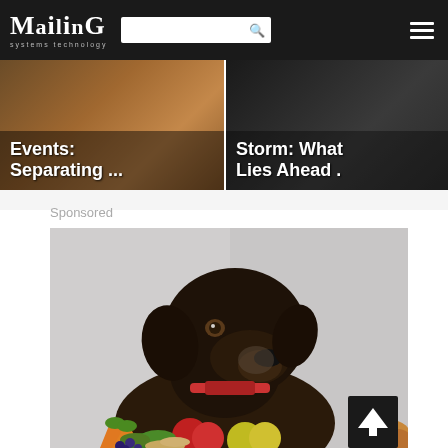Mailing systems technology
[Figure (screenshot): Navigation bar with Mailing Systems Technology logo, search box, and hamburger menu on dark background]
[Figure (photo): Article card 1: Events: Separating ... with sports/grass background image]
[Figure (photo): Article card 2: Storm: What Lies Ahead . with dark background image]
Sponsored
[Figure (photo): Sponsored advertisement: A dark chocolate Labrador dog with red collar looking at camera, surrounded by fruits and vegetables including carrots, apples, and berries on a light grey background]